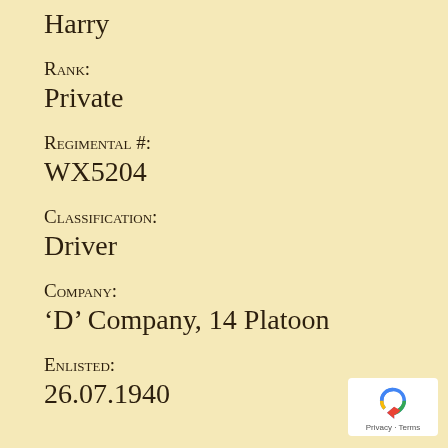Harry
Rank:
Private
Regimental #:
WX5204
Classification:
Driver
Company:
‘D’ Company, 14 Platoon
Enlisted:
26.07.1940